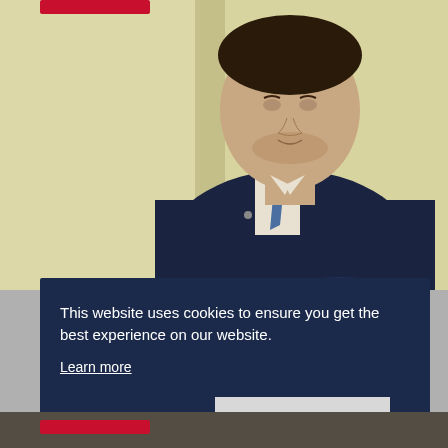[Figure (photo): Professional man in dark navy suit with arms crossed, wearing a blue tie, standing against a pale yellow wall. Red banner partially visible at top left.]
This website uses cookies to ensure you get the best experience on our website.
Learn more
Decline
Allow cookies
[Figure (photo): Partial photo visible at bottom of page with red banner overlay.]